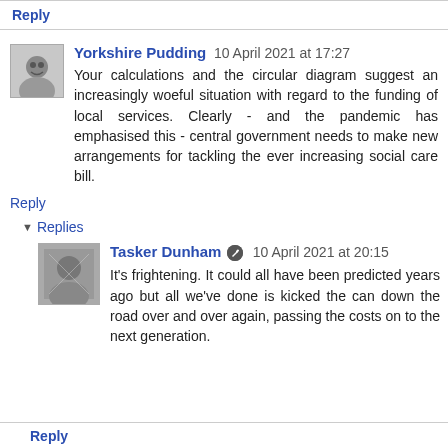Reply
Yorkshire Pudding  10 April 2021 at 17:27
Your calculations and the circular diagram suggest an increasingly woeful situation with regard to the funding of local services. Clearly - and the pandemic has emphasised this - central government needs to make new arrangements for tackling the ever increasing social care bill.
Reply
Replies
Tasker Dunham  10 April 2021 at 20:15
It's frightening. It could all have been predicted years ago but all we've done is kicked the can down the road over and over again, passing the costs on to the next generation.
Reply